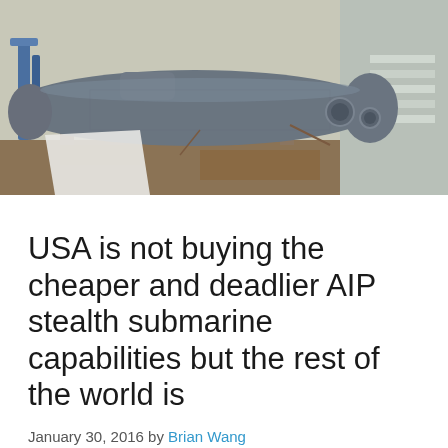[Figure (photo): A large submarine in dry dock or industrial facility, gray hull, resting on metal supports, concrete and rusty floor visible, blue steel beams in background.]
USA is not buying the cheaper and deadlier AIP stealth submarine capabilities but the rest of the world is
January 30, 2016 by Brian Wang